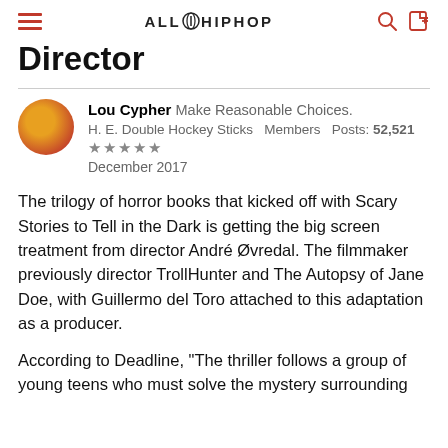ALLHIPHOP
Director
Lou Cypher  Make Reasonable Choices.
H. E. Double Hockey Sticks  Members  Posts: 52,521
★★★★★
December 2017
The trilogy of horror books that kicked off with Scary Stories to Tell in the Dark is getting the big screen treatment from director André Øvredal. The filmmaker previously director TrollHunter and The Autopsy of Jane Doe, with Guillermo del Toro attached to this adaptation as a producer.
According to Deadline, "The thriller follows a group of young teens who must solve the mystery surrounding